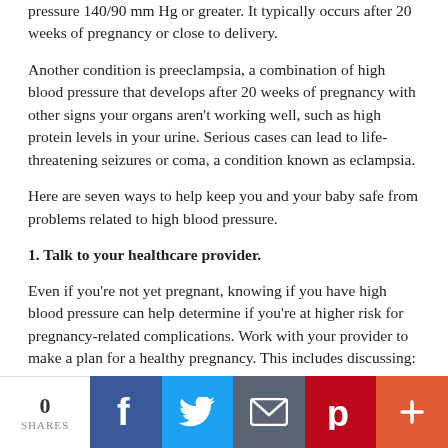pressure 140/90 mm Hg or greater. It typically occurs after 20 weeks of pregnancy or close to delivery.
Another condition is preeclampsia, a combination of high blood pressure that develops after 20 weeks of pregnancy with other signs your organs aren't working well, such as high protein levels in your urine. Serious cases can lead to life-threatening seizures or coma, a condition known as eclampsia.
Here are seven ways to help keep you and your baby safe from problems related to high blood pressure.
1. Talk to your healthcare provider.
Even if you're not yet pregnant, knowing if you have high blood pressure can help determine if you're at higher risk for pregnancy-related complications. Work with your provider to make a plan for a healthy pregnancy. This includes discussing:
What a healthy blood pressure range is for you.
How to control or lower high blood pressure by adopting a
0 SHARES | Facebook | Twitter | Email | Pinterest | Plus